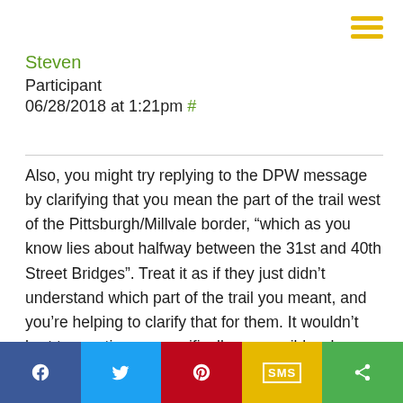Steven
Participant
06/28/2018 at 1:21pm #
Also, you might try replying to the DPW message by clarifying that you mean the part of the trail west of the Pittsburgh/Millvale border, “which as you know lies about halfway between the 31st and 40th Street Bridges”. Treat it as if they just didn’t understand which part of the trail you meant, and you’re helping to clarify that for them. It wouldn’t hurt to mention as specifically as possible where the problem is, in relation to the structures and the Pittsburgh/Millvale border. Maybe use Google Maps to make a little diagram with arrows for the border and the problem area, and send that to them as an attached image.
[Figure (infographic): Social sharing bar with five buttons: Facebook (blue), Twitter (light blue), Pinterest (red), SMS (yellow), and Share (green)]